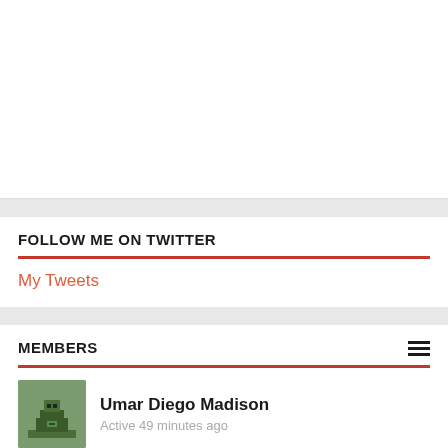[Figure (other): Large white blank area at top of page]
FOLLOW ME ON TWITTER
My Tweets
MEMBERS
[Figure (illustration): Pixel art avatar of Umar Diego Madison — green background with dark pixelated figure]
Umar Diego Madison
Active 49 minutes ago